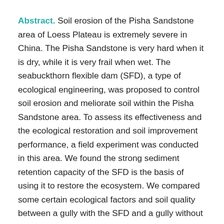Abstract. Soil erosion of the Pisha Sandstone area of Loess Plateau is extremely severe in China. The Pisha Sandstone is very hard when it is dry, while it is very frail when wet. The seabuckthorn flexible dam (SFD), a type of ecological engineering, was proposed to control soil erosion and meliorate soil within the Pisha Sandstone area. To assess its effectiveness and the ecological restoration and soil improvement performance, a field experiment was conducted in this area. We found the strong sediment retention capacity of the SFD is the basis of using it to restore the ecosystem. We compared some certain ecological factors and soil quality between a gully with the SFD and a gully without the SFD, including soil moisture, soil organic matter (SOM), soil nutrients (including Ammonia Nitrogen, available phosphorus and Potassium), vegetation coverage and biodiversity. The results showed that the SFD exhibits excellent performance for ecological restoration and